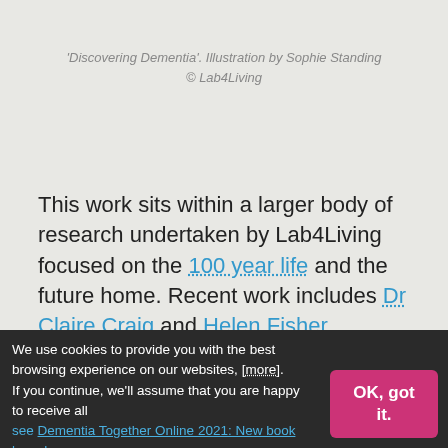'Discovering Dementia'. Illustration by Sophie Standing
© Lab4Living
This work sits within a larger body of research undertaken by Lab4Living focused on the 100 year life and the future home. Recent work includes Dr Claire Craig and Helen Fisher collaboration with Alzheimer Scotland in response to the the COVID pandemic through which they developed Dementia Together Online, a website of support materials for ways of living well with dementia at home.
We use cookies to provide you with the best browsing experience on our websites, [more].
If you continue, we'll assume that you are happy to receive all